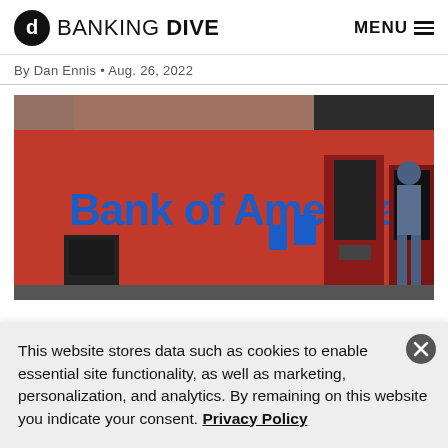BANKING DIVE  MENU
By Dan Ennis • Aug. 26, 2022
[Figure (photo): Bank of America ATM kiosk exterior with blue 'Bank of America' signage on red background; a man stands at the ATM machine in the background.]
This website stores data such as cookies to enable essential site functionality, as well as marketing, personalization, and analytics. By remaining on this website you indicate your consent. Privacy Policy